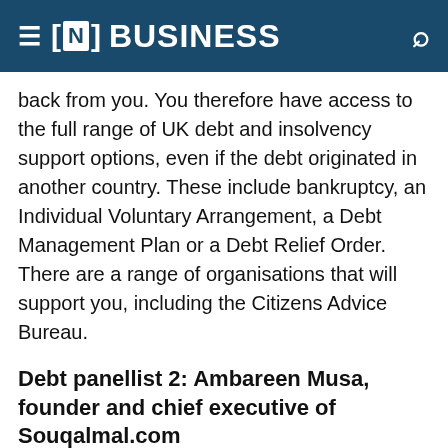[N] BUSINESS
back from you. You therefore have access to the full range of UK debt and insolvency support options, even if the debt originated in another country. These include bankruptcy, an Individual Voluntary Arrangement, a Debt Management Plan or a Debt Relief Order. There are a range of organisations that will support you, including the Citizens Advice Bureau.
Debt panellist 2: Ambareen Musa, founder and chief executive of Souqalmal.com
In various countries, there is a defined time limit beyond which debts can no longer...